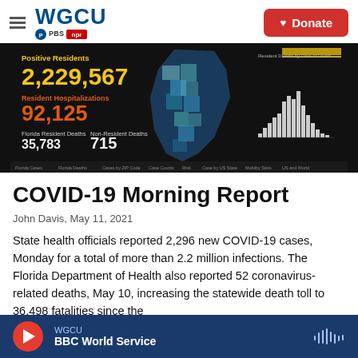WGCU PBS NPR | Donate
[Figure (screenshot): Florida COVID-19 dashboard screenshot showing Positive Residents 2,229,567, Resident Hospitalizations 92,125, Florida Resident Deaths 35,783, Non-Resident Deaths 715, with a map of Florida counties and a bar chart of Resident Deaths by Date of Death]
COVID-19 Morning Report
John Davis, May 11, 2021
State health officials reported 2,296 new COVID-19 cases, Monday for a total of more than 2.2 million infections. The Florida Department of Health also reported 52 coronavirus-related deaths, May 10, increasing the statewide death toll to 36,498 fatalities since the
WGCU BBC World Service